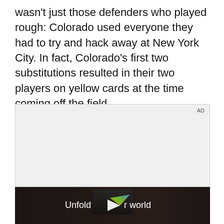wasn't just those defenders who played rough: Colorado used everyone they had to try and hack away at New York City. In fact, Colorado's first two substitutions resulted in their two players on yellow cards at the time coming off the field.
[Figure (other): Advertisement placeholder box with 'AD' label in top right corner, light gray background]
[Figure (screenshot): Video thumbnail showing a person holding a foldable phone in a dark car interior, with text 'Unfold your world' and a play button overlay]